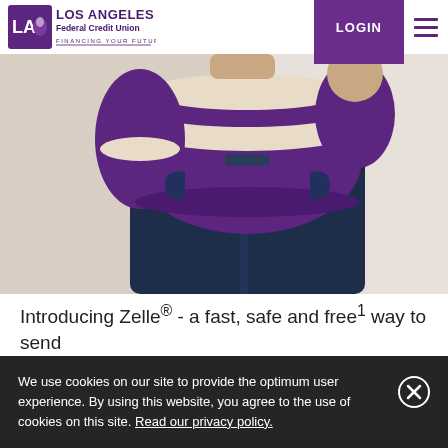[Figure (logo): Los Angeles Federal Credit Union logo - purple shield with LA initials and flower, text 'LOS ANGELES Federal Credit Union' and tagline 'FINANCING YOUR FUTURE']
[Figure (photo): Person wearing a purple and cream striped knit sweater with dark jeans, photographed from mid-chest to mid-thigh, light background]
Introducing Zelle® - a fast, safe and free¹ way to send
We use cookies on our site to provide the optimum user experience. By using this website, you agree to the use of cookies on this site. Read our privacy policy.